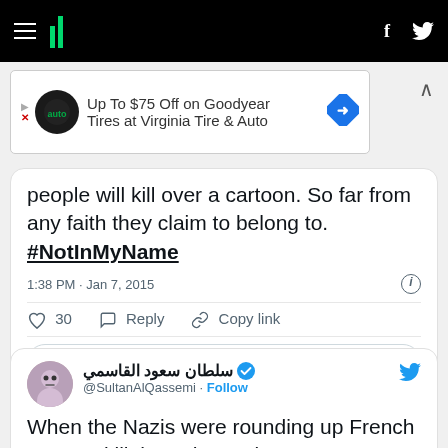[Figure (screenshot): Website navigation bar with hamburger menu, HuffPost logo bars in green, and social media icons (f, twitter bird) on black background]
[Figure (infographic): Advertisement banner: Up To $75 Off on Goodyear Tires at Virginia Tire & Auto with auto logo and diamond navigation icon]
people will kill over a cartoon. So far from any faith they claim to belong to. #NotInMyName
1:38 PM · Jan 7, 2015
♡ 30   Reply   Copy link
Read 1 reply
سلطان سعود القاسمي @SultanAlQassemi · Follow
When the Nazis were rounding up French Jews to kill them the Paris